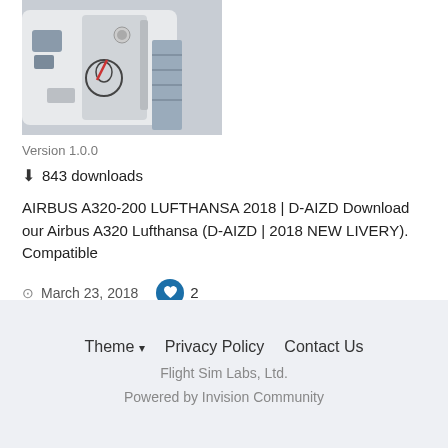[Figure (photo): Photograph of an Airbus aircraft door open on a jet bridge, showing white fuselage with Lufthansa crane logo, cockpit windows visible, ground equipment in background.]
Version 1.0.0
843 downloads
AIRBUS A320-200 LUFTHANSA 2018 | D-AIZD Download our Airbus A320 Lufthansa (D-AIZD | 2018 NEW LIVERY). Compatible
March 23, 2018   2
fsx   repaint   (and 11 more)
Theme ▼   Privacy Policy   Contact Us
Flight Sim Labs, Ltd.
Powered by Invision Community